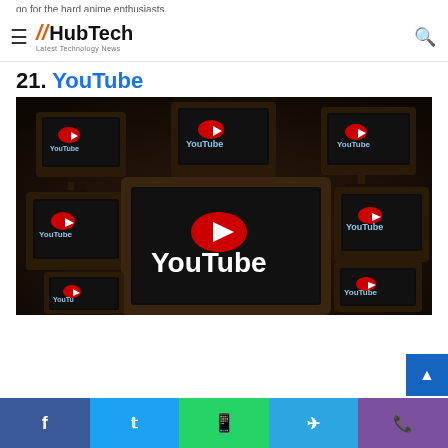go for the hard anime enthusiasts.
HubTech — Latest Technology News
21. YouTube
[Figure (photo): Multiple vintage television sets displaying the YouTube logo and play button icon against a dark background]
Facebook | Twitter | WhatsApp | Telegram | Viber social share buttons